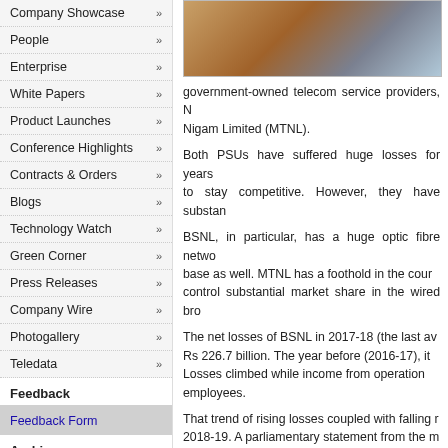Company Showcase »
People »
Enterprise »
White Papers »
Product Launches »
Conference Highlights »
Contracts & Orders »
Blogs »
Technology Watch »
Green Corner »
Press Releases »
Company Wire »
Photogallery »
Teledata »
Feedback
Feedback Form
Archives
Tele.net magazine archives
[Figure (photo): Photo of a buffalo or large animal, brown in color against a light blue background]
government-owned telecom service providers, Nigam Limited (MTNL).
Both PSUs have suffered huge losses for years to stay competitive. However, they have substan
BSNL, in particular, has a huge optic fibre netwo base as well. MTNL has a foothold in the cour control substantial market share in the wired bro
The net losses of BSNL in 2017-18 (the last av Rs 226.7 billion. The year before (2016-17), it Losses climbed while income from operation employees.
That trend of rising losses coupled with falling r 2018-19. A parliamentary statement from the m billion in 2018-19, with revenues falling to Rs 1 about 165,000.
MTNL, which only services Mumbai and Delhi, b billion in 2017-18. In 2016-17, it had losses of F